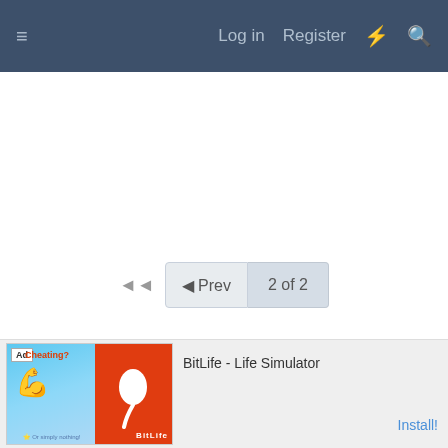≡   Log in   Register  ⚡  🔍
◄◄  ◄ Prev  2 of 2
[Figure (screenshot): Ad banner for BitLife - Life Simulator app showing a muscular arm Cheating? graphic on blue background on left, BitLife logo on orange background, and Install! button on right]